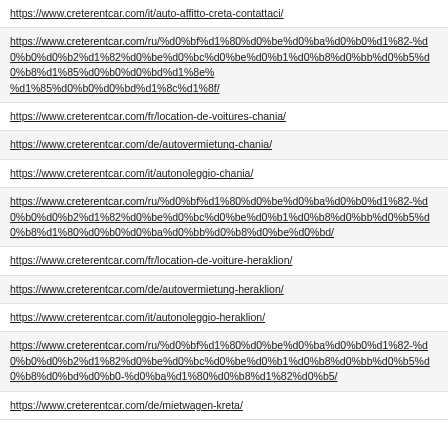https://www.creterentcar.com/it/auto-affitto-creta-contattaci/
https://www.creterentcar.com/ru/%d0%bf%d1%80%d0%be%d0%ba%d0%b0%d1%82-%d0%b0%d0%b2%d1%82%d0%be%d0%bc%d0%be%d0%b1%d0%b8%d0%bb%d0%b5%d0%b8%d1%85%d0%b0%d0%bd%d1%8c%d1%8f/
https://www.creterentcar.com/fr/location-de-voitures-chania/
https://www.creterentcar.com/de/autovermietung-chania/
https://www.creterentcar.com/it/autonoleggio-chania/
https://www.creterentcar.com/ru/%d0%bf%d1%80%d0%be%d0%ba%d0%b0%d1%82-%d0%b0%d0%b2%d1%82%d0%be%d0%bc%d0%be%d0%b1%d0%b8%d0%bb%d0%b5%d0%b8%d1%80%d0%b0%d0%ba%d0%bb%d0%b8%d0%be%d0%bd/
https://www.creterentcar.com/fr/location-de-voiture-heraklion/
https://www.creterentcar.com/de/autovermietung-heraklion/
https://www.creterentcar.com/it/autonoleggio-heraklion/
https://www.creterentcar.com/ru/%d0%bf%d1%80%d0%be%d0%ba%d0%b0%d1%82-%d0%b0%d0%b2%d1%82%d0%be%d0%bc%d0%be%d0%b1%d0%b8%d0%bb%d0%b5%d0%b8%d0%bd%d0%b0-%d0%ba%d1%80%d0%b8%d1%82%d0%b5/
https://www.creterentcar.com/de/mietwagen-kreta/